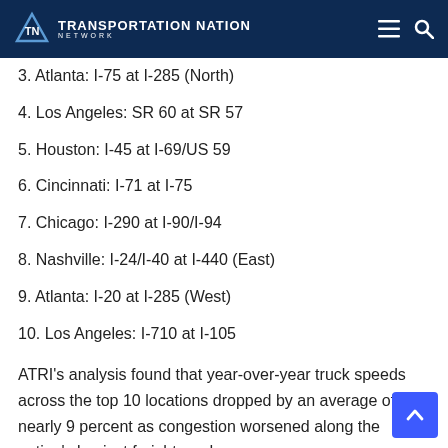Transportation Nation Network
3. Atlanta: I-75 at I-285 (North)
4. Los Angeles: SR 60 at SR 57
5. Houston: I-45 at I-69/US 59
6. Cincinnati: I-71 at I-75
7. Chicago: I-290 at I-90/I-94
8. Nashville: I-24/I-40 at I-440 (East)
9. Atlanta: I-20 at I-285 (West)
10. Los Angeles: I-710 at I-105
ATRI's analysis found that year-over-year truck speeds across the top 10 locations dropped by an average of nearly 9 percent as congestion worsened along the nation's busiest freight roadways.
In October '18 ATRI released the findings of its annual